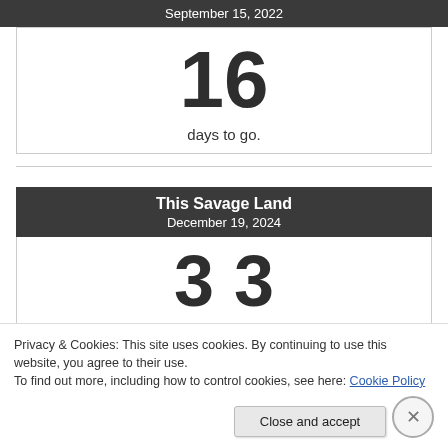September 15, 2022
16
days to go.
This Savage Land
December 19, 2024
3 3
Privacy & Cookies: This site uses cookies. By continuing to use this website, you agree to their use.
To find out more, including how to control cookies, see here: Cookie Policy
Close and accept